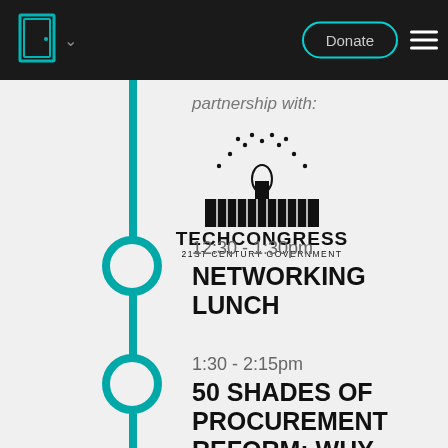Donate
partnership with:
[Figure (logo): TechCongress 21st Century Government logo with Capitol building and star arc]
12:30 - 1:30pm
NETWORKING LUNCH
1:30 - 2:15pm
50 SHADES OF PROCUREMENT REFORM: WHY THIS SUBJECT SEEMS HOT RIGHT NOW AND